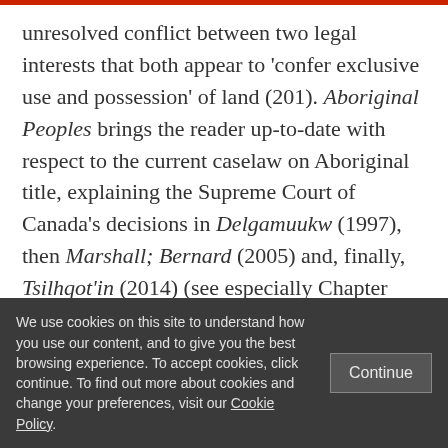unresolved conflict between two legal interests that both appear to 'confer exclusive use and possession' of land (201). Aboriginal Peoples brings the reader up-to-date with respect to the current caselaw on Aboriginal title, explaining the Supreme Court of Canada's decisions in Delgamuukw (1997), then Marshall; Bernard (2005) and, finally, Tsilhqot'in (2014) (see especially Chapter Four), thereby helping him to more
We use cookies on this site to understand how you use our content, and to give you the best browsing experience. To accept cookies, click continue. To find out more about cookies and change your preferences, visit our Cookie Policy.